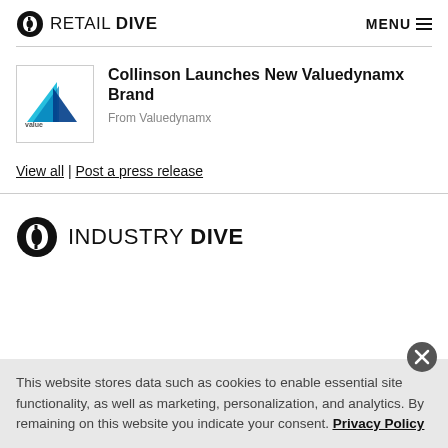RETAIL DIVE | MENU
[Figure (logo): Valuedynamx logo — small white box with blue/teal triangle arrow icon and 'value dynamx' text]
Collinson Launches New Valuedynamx Brand
From Valuedynamx
View all | Post a press release
[Figure (logo): Industry Dive logo — circular D icon followed by 'INDUSTRY DIVE' text]
This website stores data such as cookies to enable essential site functionality, as well as marketing, personalization, and analytics. By remaining on this website you indicate your consent. Privacy Policy